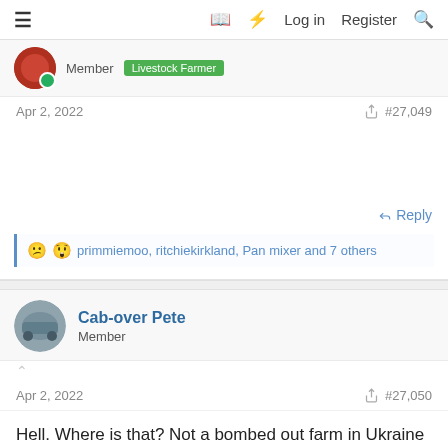≡  🔖 ⚡ Log in  Register  🔍
Member  Livestock Farmer
Apr 2, 2022  #27,049
Reply
😕😲 primmiemoo, ritchiekirkland, Pan mixer and 7 others
Cab-over Pete
Member
Apr 2, 2022  #27,050
Hell. Where is that? Not a bombed out farm in Ukraine surely?
Reply